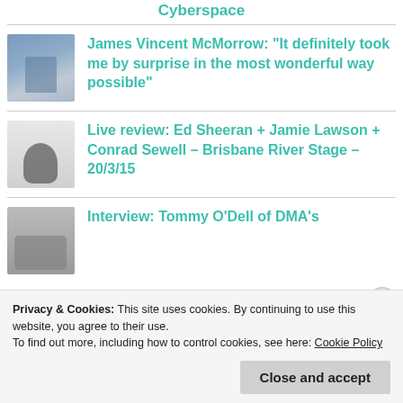Cyberspace
James Vincent McMorrow: "It definitely took me by surprise in the most wonderful way possible"
Live review: Ed Sheeran + Jamie Lawson + Conrad Sewell – Brisbane River Stage – 20/3/15
Interview: Tommy O'Dell of DMA's
Privacy & Cookies: This site uses cookies. By continuing to use this website, you agree to their use.
To find out more, including how to control cookies, see here: Cookie Policy
Close and accept